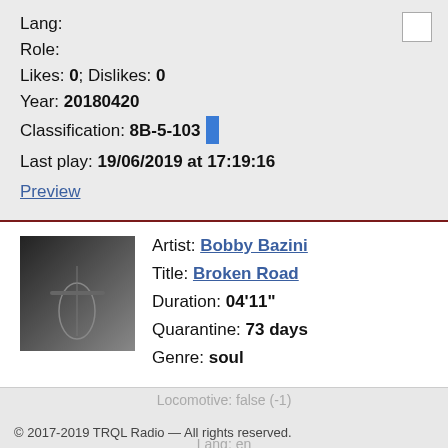Lang:
Role:
Likes: 0; Dislikes: 0
Year: 20180420
Classification: 8B-5-103
Last play: 19/06/2019 at 17:19:16
Preview
Artist: Bobby Bazini
Title: Broken Road
Duration: 04'11"
Quarantine: 73 days
Genre: soul
Locomotive: false (-1)
© 2017-2019 TRQL Radio — All rights reserved.
Lang: en